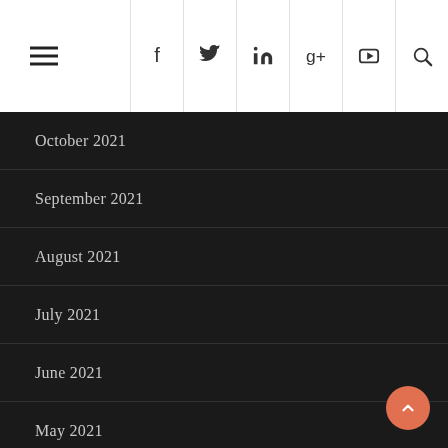Navigation header with hamburger menu and social icons: Facebook, Twitter, LinkedIn, Google+, YouTube, Search
October 2021
September 2021
August 2021
July 2021
June 2021
May 2021
April 2021
March 2021
February 2021